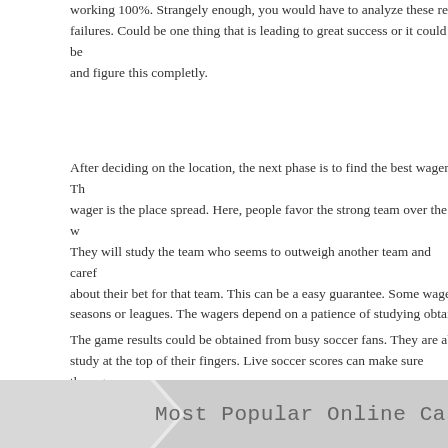working 100%. Strangely enough, you would have to analyze these results for failures. Could be one thing that is leading to great success or it could be and figure this completly.
After deciding on the location, the next phase is to find the best wager. The wager is the place spread. Here, people favor the strong team over the w... They will study the team who seems to outweigh another team and carefully about their bet for that team. This can be a easy guarantee. Some wager seasons or leagues. The wagers depend on a patience of studying obtain...
The game results could be obtained from busy soccer fans. They are able study at the top of their fingers. Live soccer scores can make sure through can be accessible through a click on a button. Latest scores can be obtained pages. The game is a result of other countries are accessible. The scores game summaries and reviews thus they can be more basically figures.
FILED UNDER: UNCATEGORIZED ·
Most Popular Online Casino Game